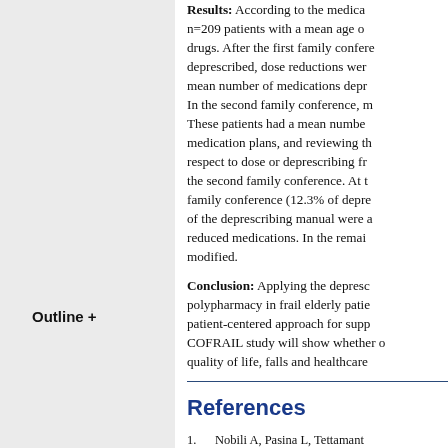Results: According to the medical records, n=209 patients with a mean age of ... drugs. After the first family conference, deprescribed, dose reductions were ... mean number of medications depr... In the second family conference, m... These patients had a mean number ... medication plans, and reviewing the ... respect to dose or deprescribing fr... the second family conference. At t... family conference (12.3% of depre... of the deprescribing manual were a... reduced medications. In the remai... modified.
Conclusion: Applying the deprescribing ... polypharmacy in frail elderly patie... patient-centered approach for supp... COFRAIL study will show whether c... quality of life, falls and healthcare...
Outline +
References
1. Nobili A, Pasina L, Tettamant... Bortolotti A, Fortino I, Merlin... drug interactions in elderly o... administrative prescription c... DOI: 10.1111/j.1365-2710.20...
2. Rockwood K, Song X, MacKn...